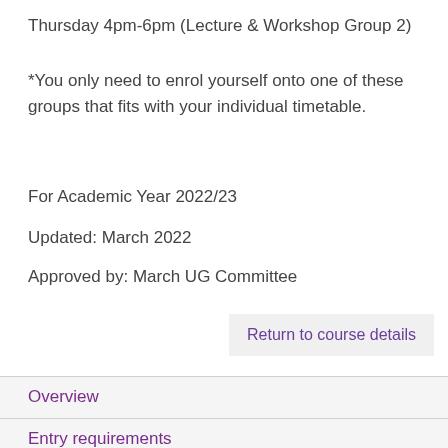Thursday 4pm-6pm (Lecture & Workshop Group 2)
*You only need to enrol yourself onto one of these groups that fits with your individual timetable.
For Academic Year 2022/23
Updated: March 2022
Approved by: March UG Committee
Return to course details
Overview
Entry requirements